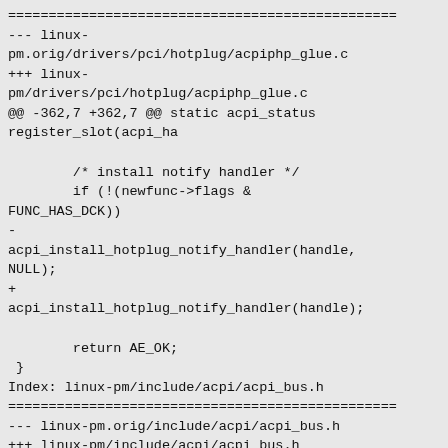=================================================
--- linux-pm.orig/drivers/pci/hotplug/acpiphp_glue.c
+++ linux-pm/drivers/pci/hotplug/acpiphp_glue.c
@@ -362,7 +362,7 @@ static acpi_status register_slot(acpi_ha

        /* install notify handler */
        if (!(newfunc->flags &
FUNC_HAS_DCK))
-
acpi_install_hotplug_notify_handler(handle,
NULL);
+
acpi_install_hotplug_notify_handler(handle);

        return AE_OK;
 }
Index: linux-pm/include/acpi/acpi_bus.h
=================================================
--- linux-pm.orig/include/acpi/acpi_bus.h
+++ linux-pm/include/acpi/acpi_bus.h
@@ -443,7 +443,7 @@ static inline bool
acpi_device_enumerate